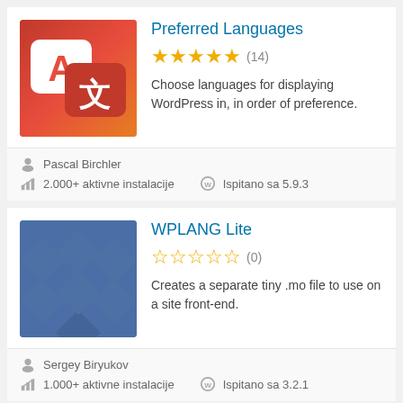Preferred Languages
★★★★★ (14)
Choose languages for displaying WordPress in, in order of preference.
Pascal Birchler
2.000+ aktivne instalacije
Ispitano sa 5.9.3
WPLANG Lite
☆☆☆☆☆ (0)
Creates a separate tiny .mo file to use on a site front-end.
Sergey Biryukov
1.000+ aktivne instalacije
Ispitano sa 3.2.1